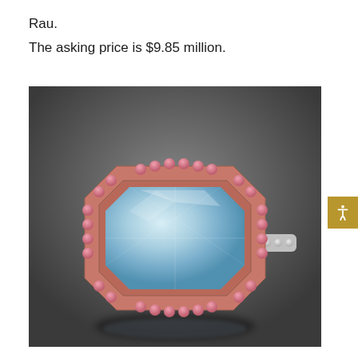Rau.
The asking price is $9.85 million.
[Figure (photo): A luxury diamond ring featuring a large pale blue/aqua emerald-cut center stone surrounded by a halo of pink diamonds set in rose gold, with a white gold or platinum band set with white diamonds. The ring is photographed on a dark gray background with a subtle reflection beneath it.]